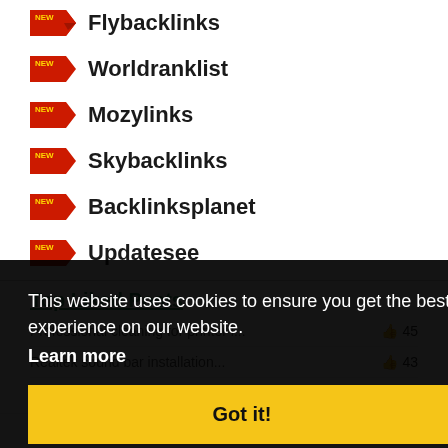Flybacklinks
Worldranklist
Mozylinks
Skybacklinks
Backlinksplanet
Updatesee
Top Liked Posts
This website uses cookies to ensure you get the best experience on our website. Learn more
Got it!
HP Envy 5000 printer offline.. 44